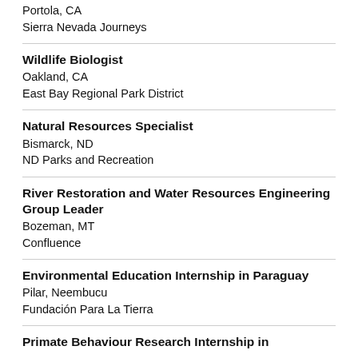Portola, CA
Sierra Nevada Journeys
Wildlife Biologist
Oakland, CA
East Bay Regional Park District
Natural Resources Specialist
Bismarck, ND
ND Parks and Recreation
River Restoration and Water Resources Engineering Group Leader
Bozeman, MT
Confluence
Environmental Education Internship in Paraguay
Pilar, Neembucu
Fundación Para La Tierra
Primate Behaviour Research Internship in